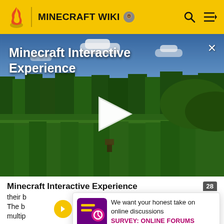MINECRAFT WIKI
[Figure (screenshot): Minecraft game screenshot showing a grassy landscape with blue sky and trees, used as video thumbnail for 'Minecraft Interactive Experience']
Minecraft Interactive Experience
Minecraft Interactive Experience
their b...
The b...
multip... th
We want your honest take on online discussions
SURVEY: ONLINE FORUMS